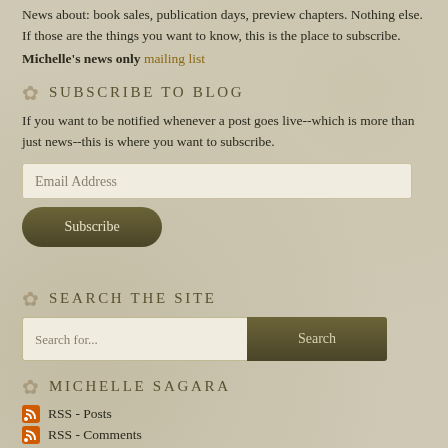News about: book sales, publication days, preview chapters. Nothing else. If those are the things you want to know, this is the place to subscribe.
Michelle's news only mailing list
SUBSCRIBE TO BLOG
If you want to be notified whenever a post goes live--which is more than just news--this is where you want to subscribe.
SEARCH THE SITE
MICHELLE SAGARA
RSS - Posts
RSS - Comments